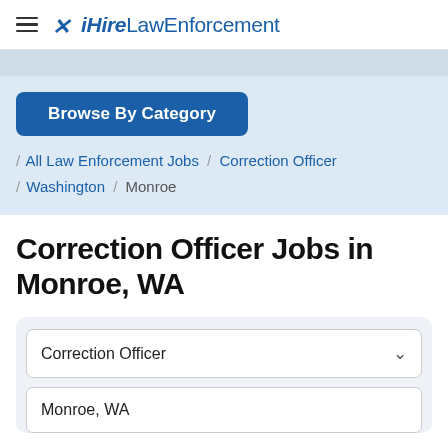iHireLawEnforcement
[Figure (logo): iHireLawEnforcement logo with figure icon and hamburger menu]
Browse By Category
/ All Law Enforcement Jobs / Correction Officer / Washington / Monroe
Correction Officer Jobs in Monroe, WA
Correction Officer
Monroe, WA